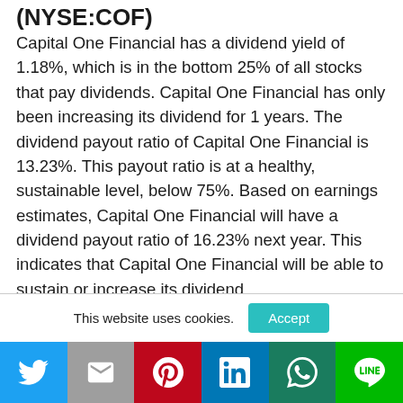(NYSE:COF)
Capital One Financial has a dividend yield of 1.18%, which is in the bottom 25% of all stocks that pay dividends. Capital One Financial has only been increasing its dividend for 1 years. The dividend payout ratio of Capital One Financial is 13.23%. This payout ratio is at a healthy, sustainable level, below 75%. Based on earnings estimates, Capital One Financial will have a dividend payout ratio of 16.23% next year. This indicates that Capital One Financial will be able to sustain or increase its dividend.
This website uses cookies.
Twitter | Gmail | Pinterest | LinkedIn | WhatsApp | LINE